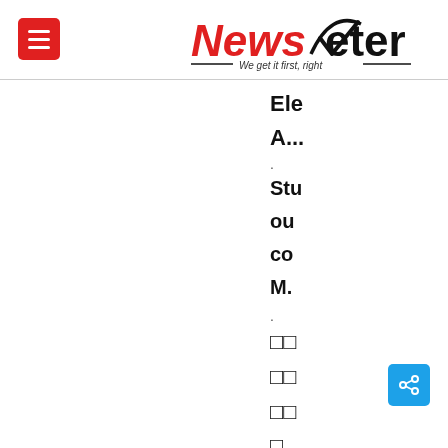NewsMeter — We get it first, right
Ele A..
Stu ou co M..
□□ □□ □□ □..